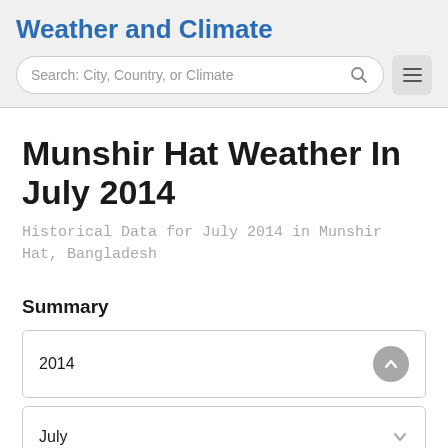Weather and Climate
Munshir Hat Weather In July 2014
Historical Data for July 2014 in Munshir Hat, Bangladesh
Summary
2014
July